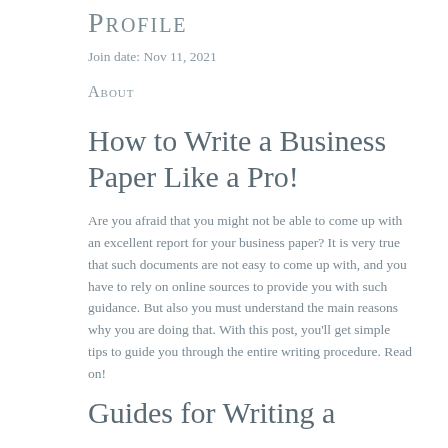Profile
Join date: Nov 11, 2021
About
How to Write a Business Paper Like a Pro!
Are you afraid that you might not be able to come up with an excellent report for your business paper? It is very true that such documents are not easy to come up with, and you have to rely on online sources to provide you with such guidance. But also you must understand the main reasons why you are doing that. With this post, you'll get simple tips to guide you through the entire writing procedure. Read on!
Guides for Writing a